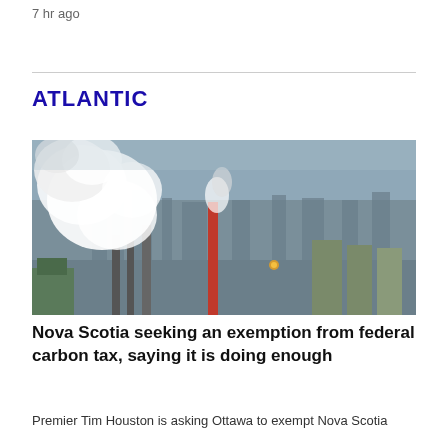7 hr ago
ATLANTIC
[Figure (photo): Aerial photograph of an industrial facility, likely a steel plant or refinery, with large white plumes of smoke rising from smokestacks and chimneys. A tall red chimney is visible in the center. The background shows a grey industrial waterfront skyline.]
Nova Scotia seeking an exemption from federal carbon tax, saying it is doing enough
Premier Tim Houston is asking Ottawa to exempt Nova Scotia